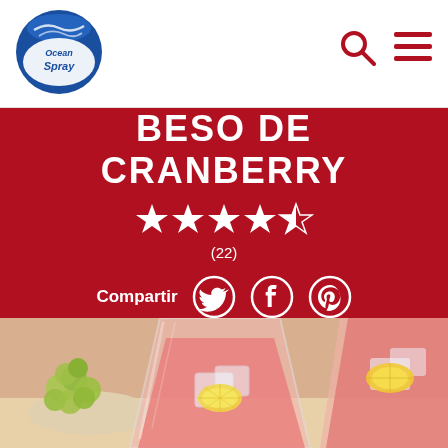[Figure (logo): Ocean Spray logo - blue and white oval with cursive text]
[Figure (infographic): Search icon (magnifying glass) and hamburger menu icon in dark red]
BESO DE CRANBERRY
★★★★½ (22)
Compartir [Twitter] [Facebook] [Pinterest]
[Figure (photo): Two glasses of pink cranberry drink with lemon slices and ice, green grapes on a plate in background]